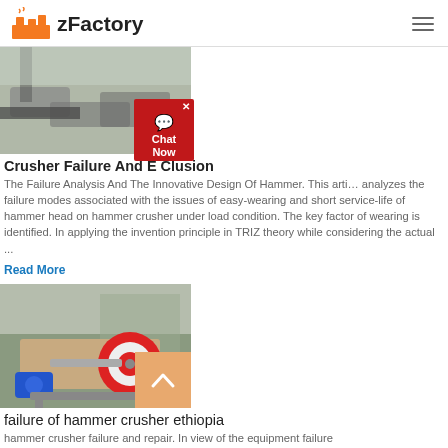zFactory
[Figure (photo): Crusher machinery with rocks and debris at a construction or mining site]
Crusher Failure And E Clusion
The Failure Analysis And The Innovative Design Of Hammer. This article analyzes the failure modes associated with the issues of easy-wearing and short service-life of hammer head on hammer crusher under load condition. The key factor of wearing is identified. In applying the invention principle in TRIZ theory while considering the actual ...
Read More
[Figure (photo): Hammer crusher machine with red wheel/flywheel and blue motor in outdoor setting in Ethiopia]
failure of hammer crusher ethiopia
hammer crusher failure and repair. In view of the equipment failure